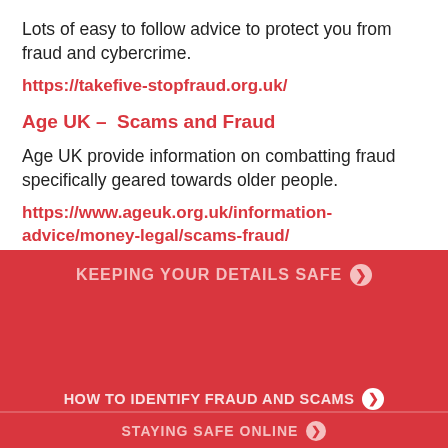Lots of easy to follow advice to protect you from fraud and cybercrime.
https://takefive-stopfraud.org.uk/
Age UK – Scams and Fraud
Age UK provide information on combatting fraud specifically geared towards older people.
https://www.ageuk.org.uk/information-advice/money-legal/scams-fraud/
[Figure (screenshot): Red banner area showing website sections: 'KEEPING YOUR DETAILS SAFE', 'HOW TO IDENTIFY FRAUD AND SCAMS', 'STAYING SAFE ONLINE' with a cookie consent overlay containing Ok and Privacy policy buttons]